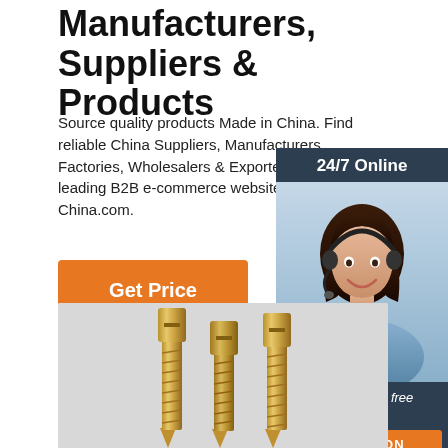Manufacturers, Suppliers & Products
Source quality products Made in China. Find reliable China Suppliers, Manufacturers, Factories, Wholesalers & Exporters on the leading B2B e-commerce website Made-in-China.com.
[Figure (infographic): 24/7 Online chat widget showing a customer service representative with headset, with 'Click here for free chat!' text and an orange QUOTATION button, on a dark navy background.]
Get Price
[Figure (photo): Product photo showing three gold-colored screws standing upright on a light gray background, with a watermark reading MONSUN.]